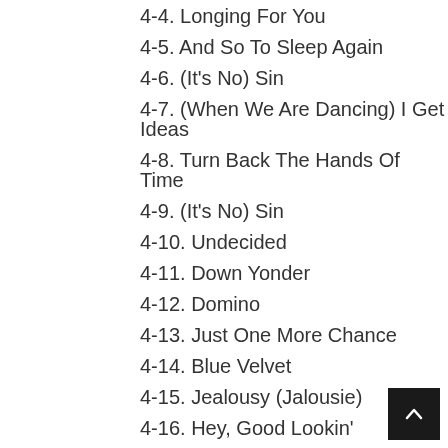4-4. Longing For You
4-5. And So To Sleep Again
4-6. (It's No) Sin
4-7. (When We Are Dancing) I Get Ideas
4-8. Turn Back The Hands Of Time
4-9. (It's No) Sin
4-10. Undecided
4-11. Down Yonder
4-12. Domino
4-13. Just One More Chance
4-14. Blue Velvet
4-15. Jealousy (Jalousie)
4-16. Hey, Good Lookin'
4-17. Calla Calla
4-18. Slow Poke
4-19. Unforgettable
4-20. It's All In The Game
4-21. Undecided